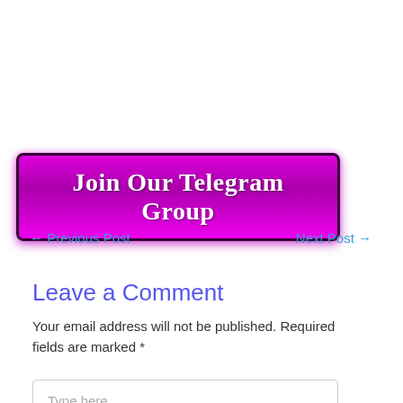[Figure (other): Purple gradient button with text 'Join Our Telegram Group' in white cursive font with dark border and glow effect]
← Previous Post    Next Post →
Leave a Comment
Your email address will not be published. Required fields are marked *
Type here..